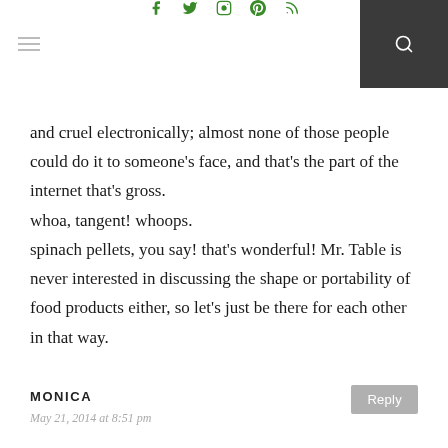Social media navigation header with hamburger menu, social icons (Facebook, Twitter, Instagram, Pinterest, RSS), and search button
and cruel electronically; almost none of those people could do it to someone's face, and that's the part of the internet that's gross. whoa, tangent! whoops. spinach pellets, you say! that's wonderful! Mr. Table is never interested in discussing the shape or portability of food products either, so let's just be there for each other in that way.
MONICA
May 21, 2014 at 8:51 pm